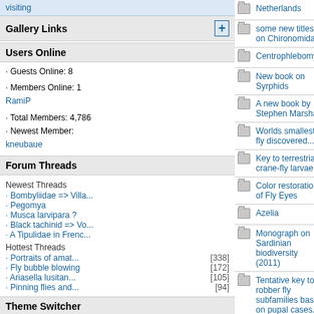visiting
Gallery Links
Users Online
· Guests Online: 8
· Members Online: 1 RamiP
· Total Members: 4,786
· Newest Member: kneubaue
Forum Threads
Newest Threads
· Bombyliidae => Villa...
· Pegomya
· Musca larvipara ?
· Black tachinid => Vo...
· A Tipulidae in Frenc...
Hottest Threads
· Portraits of amat... [338]
· Fly bubble blowing [172]
· Ariasella lusitan... [105]
· Pinning flies and... [94]
Theme Switcher
Switch to: SimpleAsThat
Last Seen Users
· RamiP Online
· Tony Irwin < 5 mins
· Carnifex 00:19:07
|  | Topic | Author | Views | Replies |
| --- | --- | --- | --- | --- |
|  | Netherlands |  |  |  |
|  | some new titles on Chironomidae | mspies | 2487 | 2 |
|  | Centrophlebomyia | sd | 1280 | 0 |
|  | New book on Syrphids | conopid | 1884 | 1 |
|  | A new book by Stephen Marshall | Dmitry Gavryushin | 5146 | 2 |
|  | Worlds smallest fly discovered... | xylo | 1453 | 0 |
|  | Key to terrestrial crane-fly larvae | Paul Beuk | 3888 | 2 |
|  | Color restoration of Fly Eyes | Tony T | 1546 | 1 |
|  | Azelia | Cesa | 1677 | 2 |
|  | Monograph on Sardinian biodiversity (2011) | Daniel Whitmore | 1878 | 0 |
|  | Tentative key to robber fly subfamilies based on pupal cases. | Paul Beuk | 2792 | 0 |
|  | Illustrated key to NA Pollenia spp. | Tony T | 2679 | 0 |
|  | Dipterists Digest 18 (2) | Tony Irwin | 2686 | 1 |